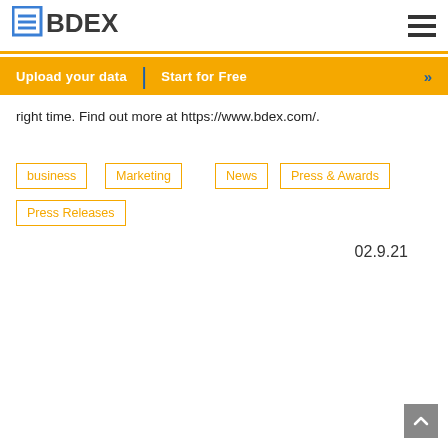BDEX
Upload your data | Start for Free >>
right time. Find out more at https://www.bdex.com/.
business
Marketing
News
Press & Awards
Press Releases
02.9.21